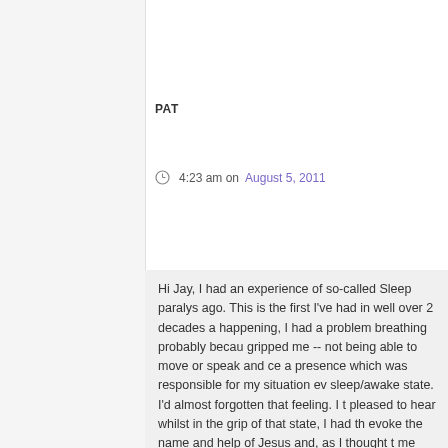PAT
4:23 am on August 5, 2011
Hi Jay, I had an experience of so-called Sleep paralys ago. This is the first I've had in well over 2 decades a happening, I had a problem breathing probably becau gripped me -- not being able to move or speak and ce a presence which was responsible for my situation ev sleep/awake state. I'd almost forgotten that feeling. I t pleased to hear whilst in the grip of that state, I had th evoke the name and help of Jesus and, as I thought t me Jesus' -- I was aware those words were forced thr my voice burst through quite loudly -- that ended the b I've tried this for myself and it seemed to work yet, wh -- thus believing it was psychological?